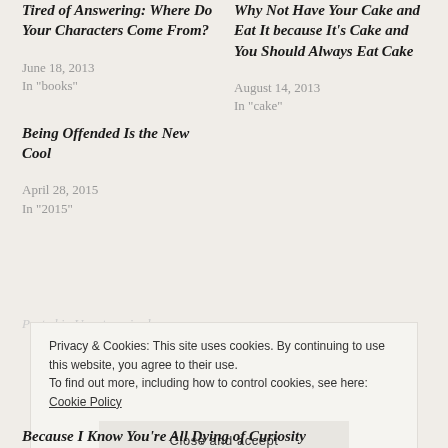Tired of Answering: Where Do Your Characters Come From?
June 18, 2013
In "books"
Why Not Have Your Cake and Eat It because It's Cake and You Should Always Eat Cake
August 14, 2013
In "cake"
Being Offended Is the New Cool
April 28, 2015
In "2015"
Privacy & Cookies: This site uses cookies. By continuing to use this website, you agree to their use.
To find out more, including how to control cookies, see here: Cookie Policy
Close and accept
Because I Know You're All Dying of Curiosity